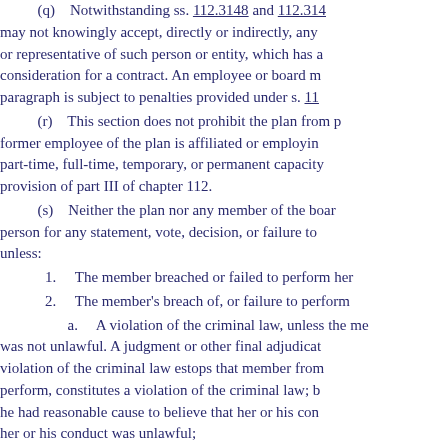(q) Notwithstanding ss. 112.3148 and 112.3149, an employee or board member may not knowingly accept, directly or indirectly, any gift from a person or representative of such person or entity, which has a contract with the governing body for consideration for a contract. An employee or board member who violates this paragraph is subject to penalties provided under s. 112.317.
(r) This section does not prohibit the plan from purchasing services from a firm a former employee of the plan is affiliated or employing a former employee of the plan in a part-time, full-time, temporary, or permanent capacity, subject to the applicable provision of part III of chapter 112.
(s) Neither the plan nor any member of the board of trustees is liable to any person for any statement, vote, decision, or failure to act regarding plan administration, unless:
1. The member breached or failed to perform her or his duties as a member; and
2. The member's breach of, or failure to perform her or his duties constitutes:
a. A violation of the criminal law, unless the member had reasonable cause to believe her or his conduct was not unlawful. A judgment or other final adjudication against a member in any criminal proceeding for violation of the criminal law estops that member from contending that her or his conduct, which formed the basis for such criminal proceeding, did not, at the time it was undertaken, constitute a violation of the criminal law; but the termination of a criminal proceeding without conviction is not, of itself, determinative that the member had reasonable cause to believe that her or his conduct was lawful or that she or he did not have reasonable cause to believe that her or his conduct was unlawful;
b. A transaction from which the member derived an improper personal benefit, either directly or indirectly; or
c. Recklessness or any act or omission that was committed in bad faith or with malicious purpose or in a manner exhibiting wanton and willful disregard of human rights, safety, or property.